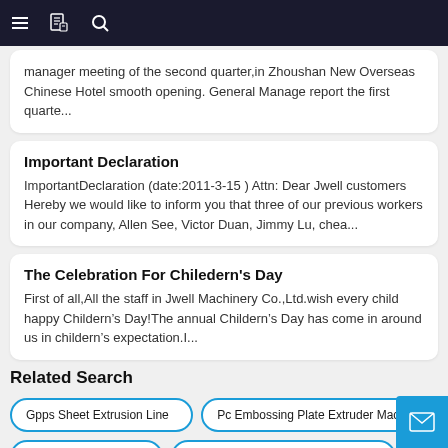navigation header with menu, document, and search icons
manager meeting of the second quarter,in Zhoushan New Overseas Chinese Hotel smooth opening. General Manage report the first quarte...
Important Declaration
ImportantDeclaration (date:2011-3-15 ) Attn: Dear Jwell customers Hereby we would like to inform you that three of our previous workers in our company, Allen See, Victor Duan, Jimmy Lu, chea...
The Celebration For Chiledern's Day
First of all,All the staff in Jwell Machinery Co.,Ltd.wish every child happy Childern&rsquo;s Day!The annual Childern&rsquo;s Day has come in around us in childern&rsquo;s expectation.I...
Related Search
Gpps Sheet Extrusion Line
Pc Embossing Plate Extruder Machine
Pc Flat Sheet Extruder
Pc Twin Wall Sheet Making Machine
Abs Hips Refrigerator Sheet Plant